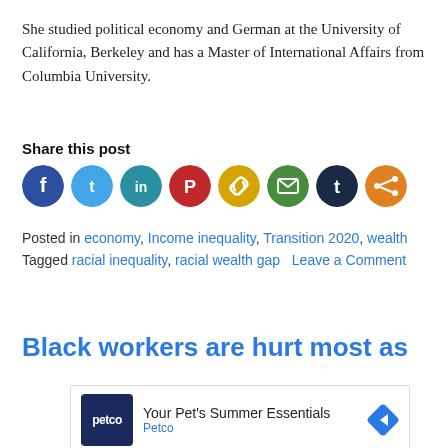She studied political economy and German at the University of California, Berkeley and has a Master of International Affairs from Columbia University.
Share this post
[Figure (infographic): Social media share icons: Facebook (dark blue), Twitter (light blue), LinkedIn (teal), Pinterest (red), Link (yellow), Email (green), Tumblr (dark navy), Share (orange)]
Posted in economy, Income inequality, Transition 2020, wealth   Tagged racial inequality, racial wealth gap   Leave a Comment
Black workers are hurt most as
[Figure (other): Advertisement for Petco: Your Pet's Summer Essentials]